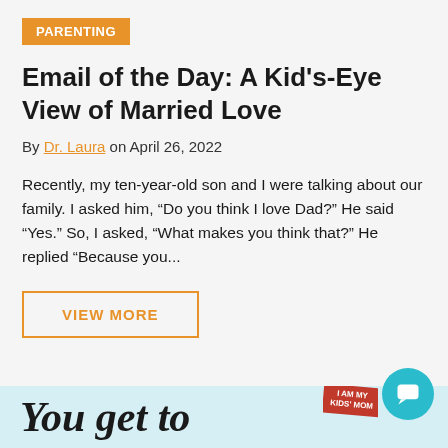PARENTING
Email of the Day: A Kid's-Eye View of Married Love
By Dr. Laura on April 26, 2022
Recently, my ten-year-old son and I were talking about our family. I asked him, “Do you think I love Dad?” He said “Yes.” So, I asked, “What makes you think that?” He replied “Because you...
VIEW MORE
You get to